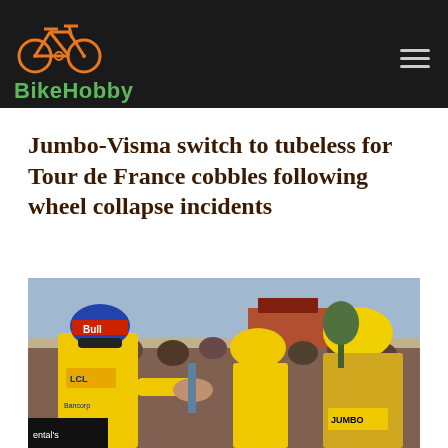BikeHobby
Jumbo-Visma switch to tubeless for Tour de France cobbles following wheel collapse incidents
[Figure (photo): Cyclists in yellow Jumbo-Visma jerseys and helmets at the Tour de France, shaking hands with other riders in a crowd setting. The rider in front wears a yellow jersey and Red Bull helmet.]